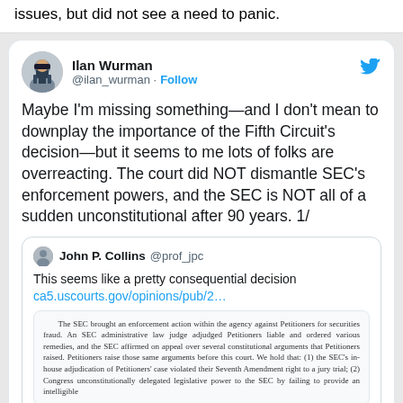issues, but did not see a need to panic.
[Figure (screenshot): Tweet by Ilan Wurman (@ilan_wurman) with Follow button and Twitter bird icon. Tweet text: 'Maybe I'm missing something—and I don't mean to downplay the importance of the Fifth Circuit's decision—but it seems to me lots of folks are overreacting. The court did NOT dismantle SEC's enforcement powers, and the SEC is NOT all of a sudden unconstitutional after 90 years. 1/' Quoted tweet by John P. Collins (@prof_jpc): 'This seems like a pretty consequential decision ca5.uscourts.gov/opinions/pub/2...' with a document preview excerpt about SEC enforcement action.]